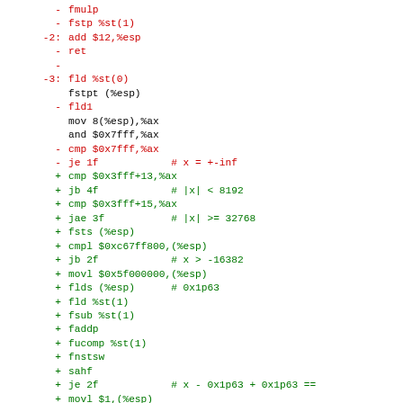- fmulp
- fstp %st(1)
-2: add $12,%esp
- ret
-
-3: fld %st(0)
 fstpt (%esp)
- fld1
 mov 8(%esp),%ax
 and $0x7fff,%ax
- cmp $0x7fff,%ax
- je 1f  # x = +-inf
+ cmp $0x3fff+13,%ax
+ jb 4f  # |x| < 8192
+ cmp $0x3fff+15,%ax
+ jae 3f  # |x| >= 32768
+ fsts (%esp)
+ cmpl $0xc67ff800,(%esp)
+ jb 2f  # x > -16382
+ movl $0x5f000000,(%esp)
+ flds (%esp)  # 0x1p63
+ fld %st(1)
+ fsub %st(1)
+ faddp
+ fucomp %st(1)
+ fnstsw
+ sahf
+ je 2f  # x - 0x1p63 + 0x1p63 ==
+ movl $1,(%esp)
+ flds (%esp)  # 0x1p-149